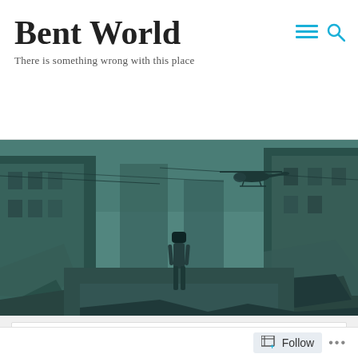Bent World
There is something wrong with this place
[Figure (photo): A woman standing in a war-torn, rubble-filled street with damaged buildings on both sides and a helicopter flying overhead. Image has a teal/green monochrome tone.]
My Testimony of Faith
Follow